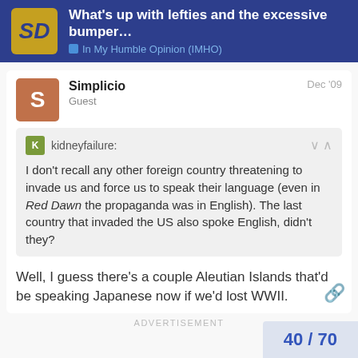What's up with lefties and the excessive bumper... | In My Humble Opinion (IMHO)
Simplicio
Guest
Dec '09
kidneyfailure:
I don't recall any other foreign country threatening to invade us and force us to speak their language (even in Red Dawn the propaganda was in English). The last country that invaded the US also spoke English, didn't they?
Well, I guess there's a couple Aleutian Islands that'd be speaking Japanese now if we'd lost WWII.
ADVERTISEMENT
40 / 70